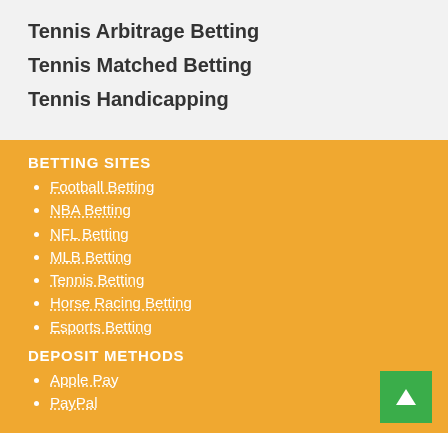Tennis Arbitrage Betting
Tennis Matched Betting
Tennis Handicapping
BETTING SITES
Football Betting
NBA Betting
NFL Betting
MLB Betting
Tennis Betting
Horse Racing Betting
Esports Betting
DEPOSIT METHODS
Apple Pay
PayPal